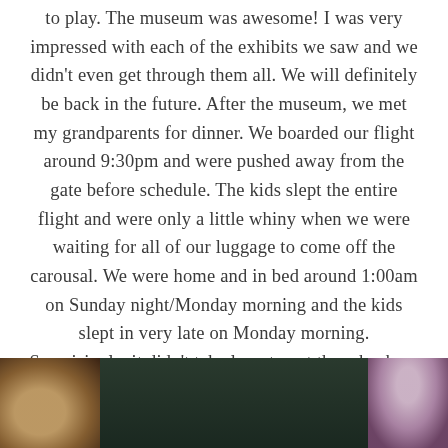to play. The museum was awesome! I was very impressed with each of the exhibits we saw and we didn't even get through them all. We will definitely be back in the future. After the museum, we met my grandparents for dinner. We boarded our flight around 9:30pm and were pushed away from the gate before schedule. The kids slept the entire flight and were only a little whiny when we were waiting for all of our luggage to come off the carousal. We were home and in bed around 1:00am on Sunday night/Monday morning and the kids slept in very late on Monday morning. Surprisingly, it didn't take long to get them back on schedule, and have even been sleeping in this week since we've been home.
[Figure (photo): Partial photo at bottom of page showing what appears to be toys or figurines against a dark green/teal background, with a warm-toned object on the left and a purple/pink object on the right.]